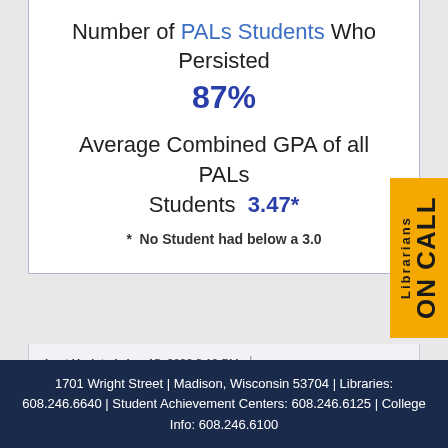Number of PALs Students Who Persisted
87%
Average Combined GPA of all PALs Students  3.47*
*  No Student had below a 3.0
Last Updated: Aug 15, 2022 3:19 PM  |  URL: https://libguides.madisoncollege.edu/PAL  |  Print Page  Login to LibApps
1701 Wright Street | Madison, Wisconsin 53704 | Libraries: 608.246.6640 | Student Achievement Centers: 608.246.6125 | College Info: 608.246.6100